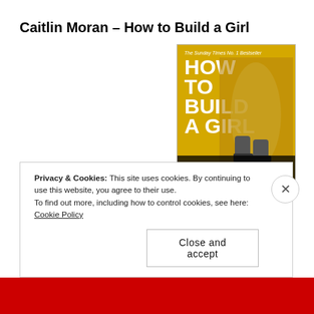Caitlin Moran – How to Build a Girl
I'm not sure about this book. The writing style is refreshing, bluntly honest (although maybe not quite right for a sheltered 15 year old) and laugh out loud funny while also gut-wrenchingly painful. It's the kind of book that is both hard to put down and difficult to keep reading because the emotions are so powerful at times,
[Figure (photo): Book cover of 'How to Build a Girl' by Caitlin Moran. Yellow cover with large white text 'HOW TO BUILD A GIRL' and author name 'CAITLIN MORAN' at the bottom. Shows legs wearing boots.]
Privacy & Cookies: This site uses cookies. By continuing to use this website, you agree to their use.
To find out more, including how to control cookies, see here: Cookie Policy
Close and accept